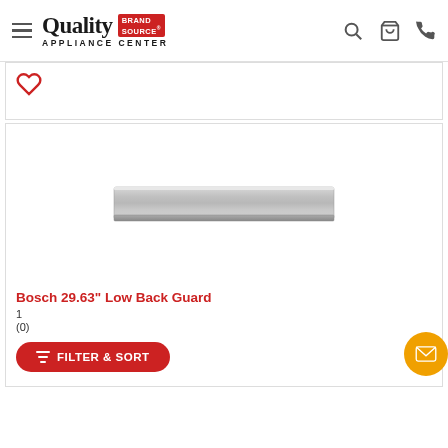Quality Appliance Center Brand Source
[Figure (screenshot): Partial product card with heart/wishlist icon]
[Figure (photo): Bosch 29.63 inch Low Back Guard product image - a stainless steel strip/guard]
Bosch 29.63" Low Back Guard
1
(0)